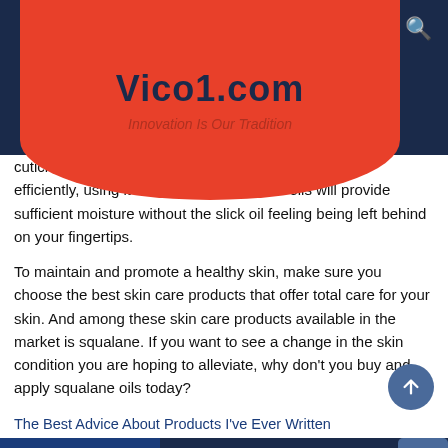Vico1.com — Innovation Is Our Tradition
cuticle absorbs moisture quickly and efficiently, using it instead of other cuticle oils will provide sufficient moisture without the slick oil feeling being left behind on your fingertips.
To maintain and promote a healthy skin, make sure you choose the best skin care products that offer total care for your skin. And among these skin care products available in the market is squalane. If you want to see a change in the skin condition you are hoping to alleviate, why don't you buy and apply squalane oils today?
The Best Advice About Products I've Ever Written
The Best Advice About Products I've Ever Written